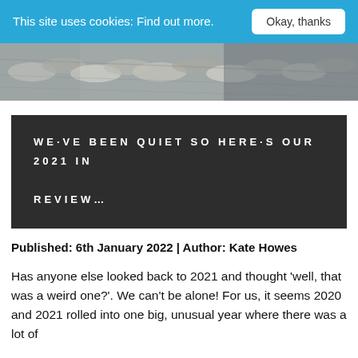This site uses cookies: Find out more.  Okay, thanks
[Figure (photo): Rolled and stacked newspapers viewed from the side, black and white tones]
WE'VE BEEN QUIET SO HERE'S OUR 2021 IN REVIEW...
Published: 6th January 2022 | Author: Kate Howes
Has anyone else looked back to 2021 and thought 'well, that was a weird one?'. We can't be alone! For us, it seems 2020 and 2021 rolled into one big, unusual year where there was a lot of